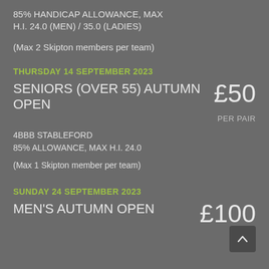85% HANDICAP ALLOWANCE, MAX H.I. 24.0 (MEN) / 35.0 (LADIES)
(Max 2 Skipton members per team)
THURSDAY 14 SEPTEMBER 2023
SENIORS (OVER 55) AUTUMN OPEN
£50
PER PAIR
4BBB STABLEFORD
85% ALLOWANCE, MAX H.I. 24.0
(Max 1 Skipton member per team)
SUNDAY 24 SEPTEMBER 2023
MEN'S AUTUMN OPEN
£100